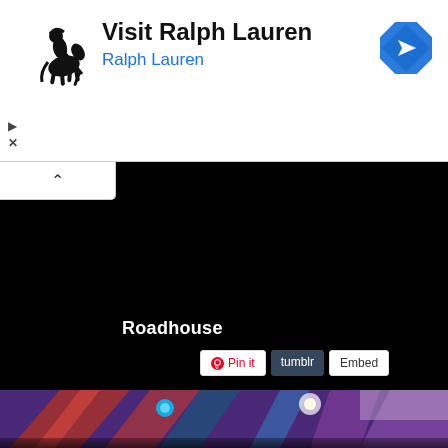[Figure (screenshot): Advertisement banner for Ralph Lauren with polo player logo, 'Visit Ralph Lauren' title, blue navigation arrow badge on right]
[Figure (screenshot): Dark/black video player area with 'Roadhouse' text label and social sharing buttons: Pin it (Pinterest), tumblr, Embed]
[Figure (photo): Colorful blurred photo strip at bottom showing purple/blue/red lights, resembling a nightclub or concert scene with bokeh lighting effects]